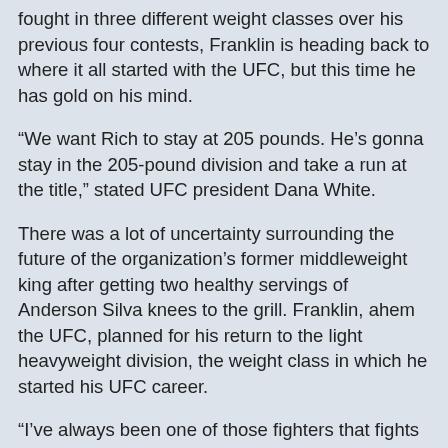fought in three different weight classes over his previous four contests, Franklin is heading back to where it all started with the UFC, but this time he has gold on his mind.
“We want Rich to stay at 205 pounds. He’s gonna stay in the 205-pound division and take a run at the title,” stated UFC president Dana White.
There was a lot of uncertainty surrounding the future of the organization’s former middleweight king after getting two healthy servings of Anderson Silva knees to the grill. Franklin, ahem the UFC, planned for his return to the light heavyweight division, the weight class in which he started his UFC career.
“I’ve always been one of those fighters that fights for the organization,” Franklin said. “If they want me to fight a fight at 205, I’ll fight at 205. If they want me to go back down and fight at 185, I’ll fight at 185 … whatever Dana asks me to do.”
Those might be the most PC words ever uttered out of the former math teacher’s mouth.
Thankfully for him, what he really wanted to